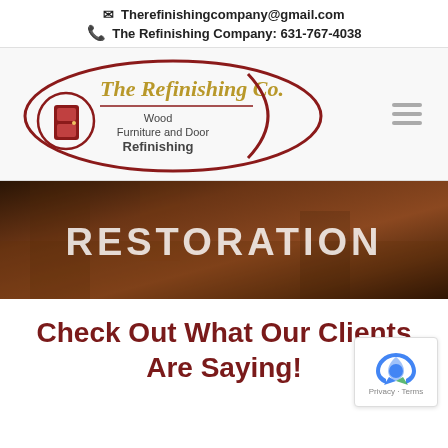✉ Therefinishingcompany@gmail.com
☎ The Refinishing Company: 631-767-4038
[Figure (logo): The Refinishing Co. logo with script text, wood furniture and door refinishing tagline, door icon, and decorative oval border]
[Figure (photo): Dark banner image of wood furniture with large white text overlay reading RESTORATION]
Check Out What Our Clients Are Saying!